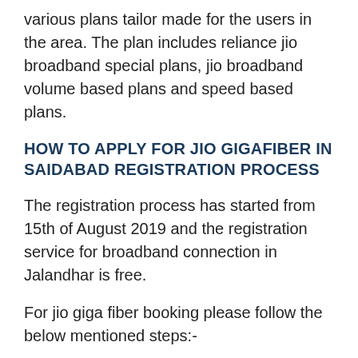various plans tailor made for the users in the area. The plan includes reliance jio broadband special plans, jio broadband volume based plans and speed based plans.
HOW TO APPLY FOR JIO GIGAFIBER IN SAIDABAD REGISTRATION PROCESS
The registration process has started from 15th of August 2019 and the registration service for broadband connection in Jalandhar is free.
For jio giga fiber booking please follow the below mentioned steps:-